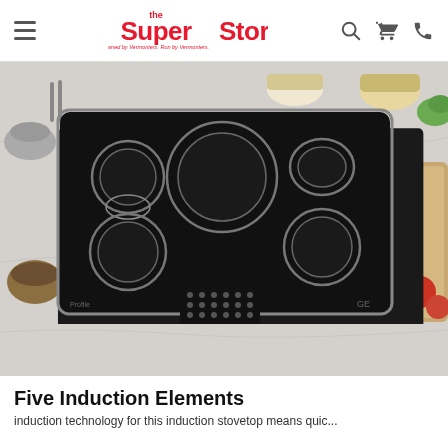the SuperStore — Owned by Vermonters. Run by Vermonters.
[Figure (photo): Overhead view of a GE Profile induction cooktop with five induction elements (5 burners) on a black glass surface with a stainless steel frame, surrounded by kitchen ingredients on a marble countertop.]
Five Induction Elements
text beginning below the heading (partially visible)